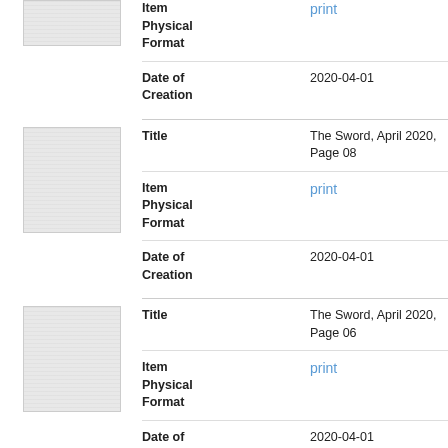[Figure (other): Thumbnail of a document page (partial, top of page)]
Item Physical Format
print
Date of Creation
2020-04-01
[Figure (other): Thumbnail of a document page]
Title
The Sword, April 2020, Page 08
Item Physical Format
print
Date of Creation
2020-04-01
[Figure (other): Thumbnail of a document page]
Title
The Sword, April 2020, Page 06
Item Physical Format
print
Date of
2020-04-01